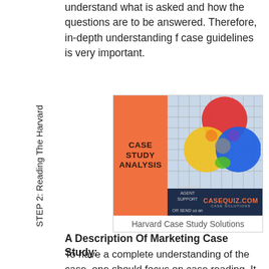understand what is asked and how the questions are to be answered. Therefore, in-depth understanding f case guidelines is very important.
STEP 2: Reading The Harvard
[Figure (illustration): Case Study Analysis promotional image showing orange left panel with text 'CASE STUDY ANALYSIS', venn diagram with overlapping colored circles (red, yellow, blue, gray, green) on building background, and dark navy footer with casequiz.com branding]
Harvard Case Study Solutions
A Description Of Marketing Case Study:
To have a complete understanding of the case, one should focus on case reading. It is said that case